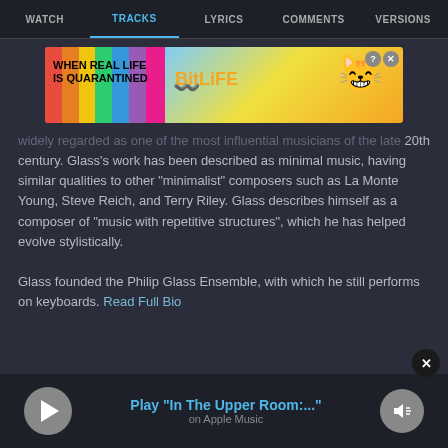WATCH | TRACKS | LYRICS | COMMENTS | VERSIONS
[Figure (screenshot): BitLife advertisement banner: rainbow background with text 'WHEN REAL LIFE IS QUARANTINED' and BitLife logo with emoji character]
widely regarded as one of the most influential musicians of the late 20th century. Glass's work has been described as minimal music, having similar qualities to other "minimalist" composers such as La Monte Young, Steve Reich, and Terry Riley. Glass describes himself as a composer of "music with repetitive structures", which he has helped evolve stylistically.

Glass founded the Philip Glass Ensemble, with which he still performs on keyboards. Read Full Bio
Play "In The Upper Room:..."
on Apple Music